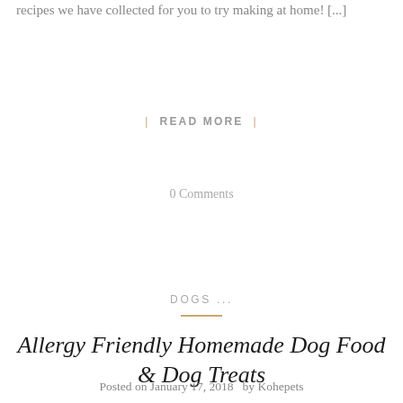recipes we have collected for you to try making at home! [...]
| READ MORE |
0 Comments
DOGS ...
Allergy Friendly Homemade Dog Food & Dog Treats
Posted on January 17, 2018  by Kohepets
[Figure (photo): Photo of a dog, likely a golden or labrador retriever, with warm brown tones]